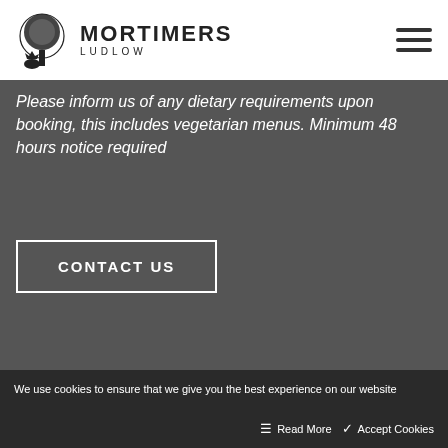[Figure (logo): Mortimers Ludlow logo with decorative tree and wolf silhouette, and brand name MORTIMERS LUDLOW]
Please inform us of any dietary requirements upon booking, this includes vegetarian menus. Minimum 48 hours notice required
CONTACT US
We use cookies to ensure that we give you the best experience on our website
Read More
Accept Cookies